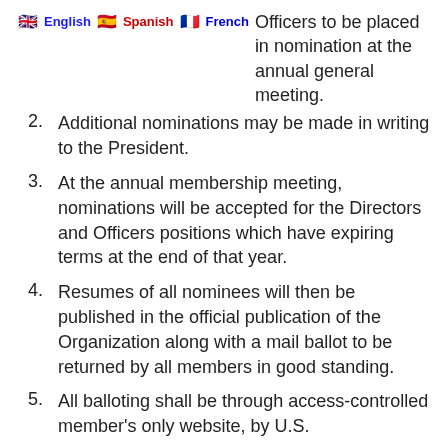English  Spanish  French
Officers to be placed in nomination at the annual general meeting.
2. Additional nominations may be made in writing to the President.
3. At the annual membership meeting, nominations will be accepted for the Directors and Officers positions which have expiring terms at the end of that year.
4. Resumes of all nominees will then be published in the official publication of the Organization along with a mail ballot to be returned by all members in good standing.
5. All balloting shall be through access-controlled member’s only website, by U.S.